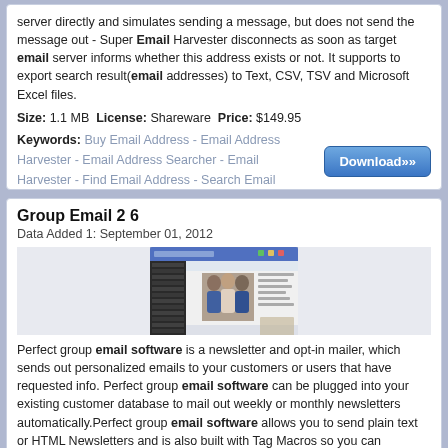server directly and simulates sending a message, but does not send the message out - Super Email Harvester disconnects as soon as target email server informs whether this address exists or not. It supports to export search result(email addresses) to Text, CSV, TSV and Microsoft Excel files.
Size: 1.1 MB License: Shareware Price: $149.95
Keywords: Buy Email Address - Email Address Harvester - Email Address Searcher - Email Harvester - Find Email Address - Search Email Address - Super Email Harvester
[Figure (other): Download button (blue rounded rectangle with Download >> text)]
Group Email 2 6
Data Added 1: September 01, 2012
[Figure (screenshot): Screenshot of Group Email software showing a Windows application interface with a group photo of business people]
Perfect group email software is a newsletter and opt-in mailer, which sends out personalized emails to your customers or users that have requested info. Perfect group email software can be plugged into your existing customer database to mail out weekly or monthly newsletters automatically.Perfect group email software allows you to send plain text or HTML Newsletters and is also built with Tag Macros so you can personalize your email text. Perfect group email software is very simple to master...
Size: 9.0 MB License: Shareware Price: $79.99